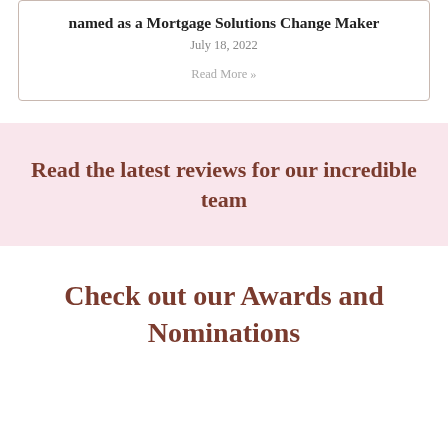named as a Mortgage Solutions Change Maker
July 18, 2022
Read More »
Read the latest reviews for our incredible team
Check out our Awards and Nominations